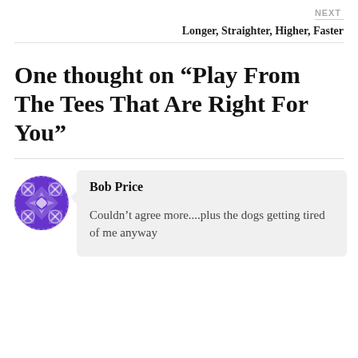NEXT
Longer, Straighter, Higher, Faster
One thought on “Play From The Tees That Are Right For You”
Bob Price
Couldn’t agree more....plus the dogs getting tired of me anyway